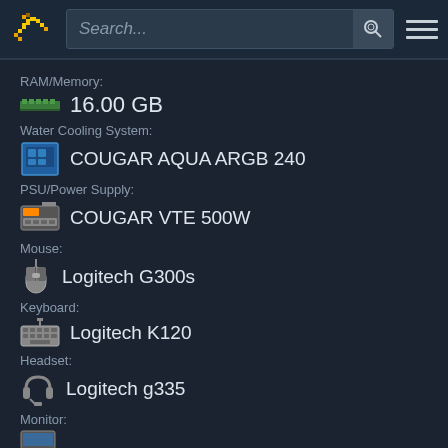Search... [search icon] [menu icon]
RAM/Memory:
16.00 GB
Water Cooling System:
COUGAR AQUA ARGB 240
PSU/Power Supply:
COUGAR VTE 500W
Mouse:
Logitech G300s
Keyboard:
Logitech K120
Headset:
Logitech g335
Monitor: